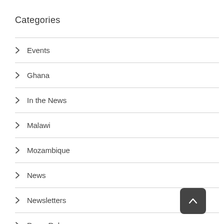Categories
Events
Ghana
In the News
Malawi
Mozambique
News
Newsletters
Press Releases
Success Stories